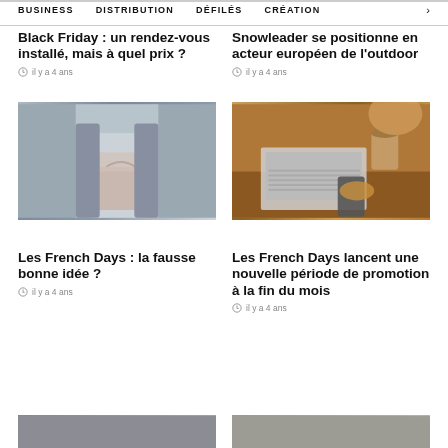BUSINESS   DISTRIBUTION   DÉFILÉS   CRÉATION   >
Black Friday : un rendez-vous installé, mais à quel prix ?
il y a 4 ans
Snowleader se positionne en acteur européen de l'outdoor
il y a 4 ans
[Figure (photo): Woman holding a shopping bag with arms crossed, wearing a grey coat]
[Figure (photo): Person typing on laptop and holding a credit card, with a coffee cup in background]
Les French Days : la fausse bonne idée ?
il y a 4 ans
Les French Days lancent une nouvelle période de promotion à la fin du mois
il y a 4 ans
[Figure (photo): Partial image at bottom left (cut off)]
[Figure (photo): Partial image at bottom right (cut off)]